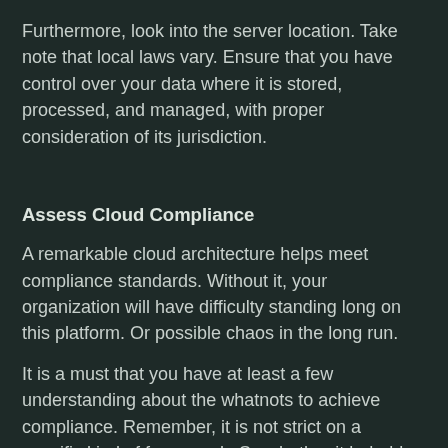Furthermore, look into the server location. Take note that local laws vary. Ensure that you have control over your data where it is stored, processed, and managed, with proper consideration of its jurisdiction.
Assess Cloud Compliance
A remarkable cloud architecture helps meet compliance standards. Without it, your organization will have difficulty standing long on this platform. Or possible chaos in the long run.
It is a must that you have at least a few understanding about the whatnots to achieve compliance. Remember, it is not strict on a specific kind of framework. So whether it beholds GDPR, PCI DSS, SOC 2, HIPAA, or others, learn how to comply.
Assessing the cloud agreement helps you feel safe and secure once your data is up in the public cloud infrastructure. Nevertheless, be responsible enough to know where your